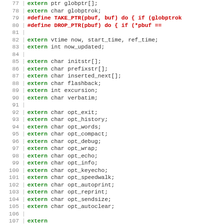[Figure (screenshot): Source code listing showing C extern declarations and preprocessor macros, lines 77 through 106. Keywords 'extern' are in green bold, '#define' macros are in red bold, other code in gray/dark text. Line numbers shown on left.]